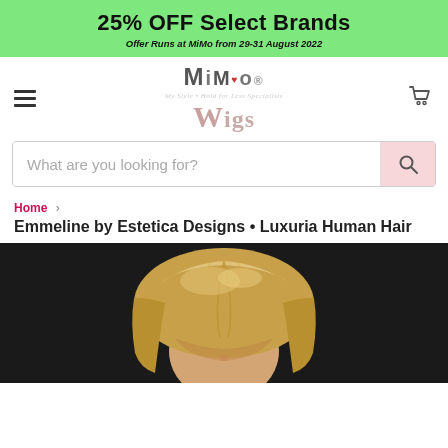25% OFF Select Brands
Offer Runs at MiMo from 29-31 August 2022
[Figure (logo): MiMo Wigs logo with hamburger menu and cart icon]
What are you looking for?
Home > Emmeline by Estetica Designs • Luxuria Human Hair
Emmeline by Estetica Designs • Luxuria Human Hair
[Figure (photo): Close-up photo of a blonde short-hair wig on a model against a dark background]